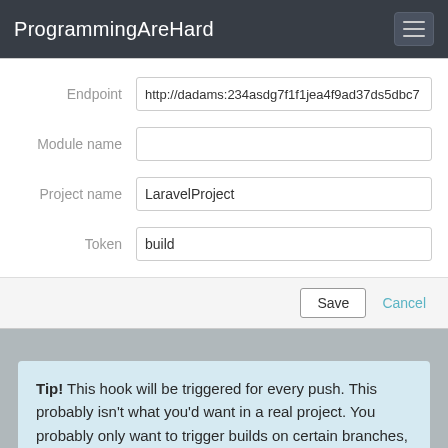ProgrammingAreHard
[Figure (screenshot): Web form with fields: Endpoint (http://dadams:234asdg7f1f1jea4f9ad37ds5dbc7...), Module name (empty), Project name (LaravelProject), Token (build), with Save and Cancel buttons]
Tip! This hook will be triggered for every push. This probably isn't what you'd want in a real project. You probably only want to trigger builds on certain branches, like the develop branch for instance. To accomplish this, use a POST hook in BitBucket instead of a Jenkins hook. You'll need to write an